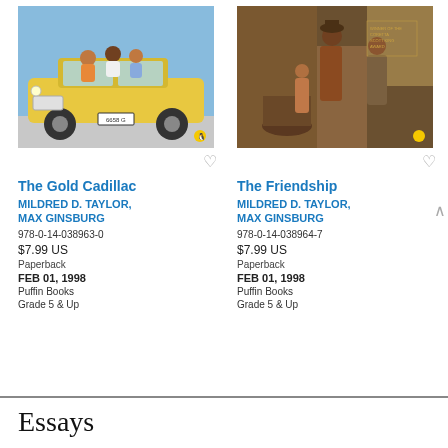[Figure (illustration): Book cover of The Gold Cadillac showing children sitting on a yellow Cadillac car, blue sky background, Puffin penguin logo]
The Gold Cadillac
MILDRED D. TAYLOR, MAX GINSBURG
978-0-14-038963-0
$7.99 US
Paperback
FEB 01, 1998
Puffin Books
Grade 5 & Up
[Figure (illustration): Book cover of The Friendship showing a man and woman in historical setting, Coretta Scott King Award badge, Puffin penguin logo]
The Friendship
MILDRED D. TAYLOR, MAX GINSBURG
978-0-14-038964-7
$7.99 US
Paperback
FEB 01, 1998
Puffin Books
Grade 5 & Up
Essays